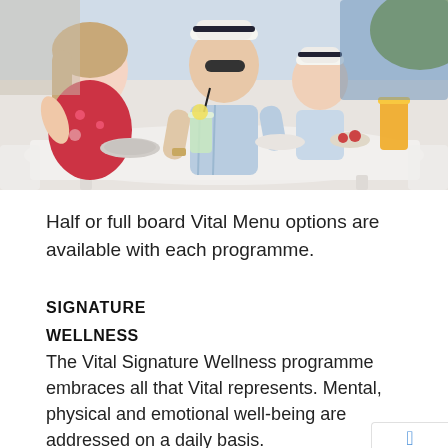[Figure (photo): A family of three — a woman in a red floral dress, a man in a white hat and light blue shirt, and a baby in a white hat — dining outdoors at a white table with food and drinks including a green smoothie and an orange juice.]
Half or full board Vital Menu options are available with each programme.
SIGNATURE
WELLNESS
The Vital Signature Wellness programme embraces all that Vital represents. Mental, physical and emotional well-being are addressed on a daily basis.